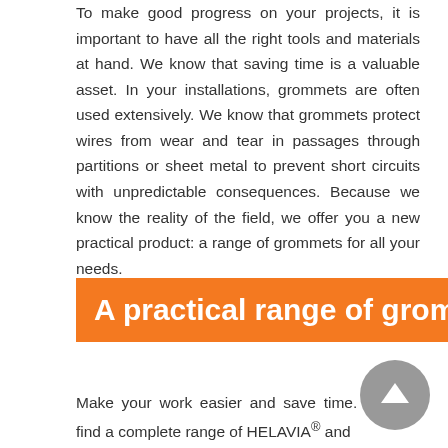To make good progress on your projects, it is important to have all the right tools and materials at hand. We know that saving time is a valuable asset. In your installations, grommets are often used extensively. We know that grommets protect wires from wear and tear in passages through partitions or sheet metal to prevent short circuits with unpredictable consequences. Because we know the reality of the field, we offer you a new practical product: a range of grommets for all your needs.
A practical range of grommets
Make your work easier and save time. You will find a complete range of HELAVIA® and ...